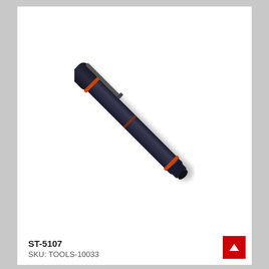[Figure (photo): A black pen-style tool (marker or penlight) with red/orange accent bands near the top and bottom, shown diagonally oriented against a white background. It has a clip on the upper portion.]
ST-5107
SKU: TOOLS-10033